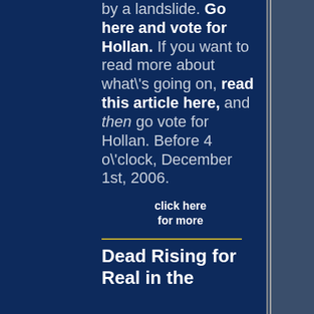by a landslide. Go here and vote for Hollan. If you want to read more about what's going on, read this article here, and then go vote for Hollan. Before 4 o'clock, December 1st, 2006.
click here for more
Dead Rising for Real in the